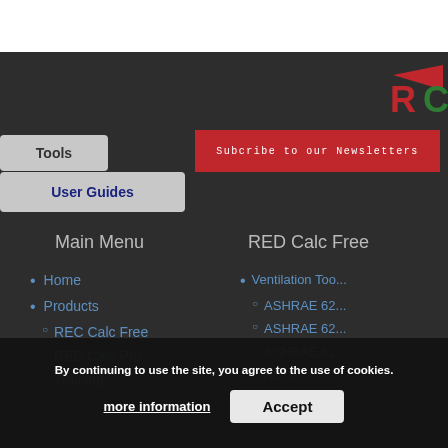[Figure (logo): Partial red and green logo letters visible in top-right corner on dark background]
Tools
Subcribe to our Newsletters
User Guides
Main Menu
RED Calc Free
Home
Products
REC Calc Free
RED Calc Pro
Ventilation Too...
ASHRAE 62...
ASHRAE 62...
ASHRAE 62...
AE 62...
Training
Advanced I...
By continuing to use the site, you agree to the use of cookies.
more information
Accept